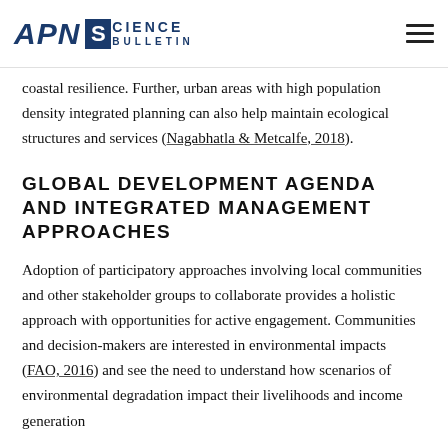APN Science Bulletin
coastal resilience. Further, urban areas with high population density integrated planning can also help maintain ecological structures and services (Nagabhatla & Metcalfe, 2018).
GLOBAL DEVELOPMENT AGENDA AND INTEGRATED MANAGEMENT APPROACHES
Adoption of participatory approaches involving local communities and other stakeholder groups to collaborate provides a holistic approach with opportunities for active engagement. Communities and decision-makers are interested in environmental impacts (FAO, 2016) and see the need to understand how scenarios of environmental degradation impact their livelihoods and income generation